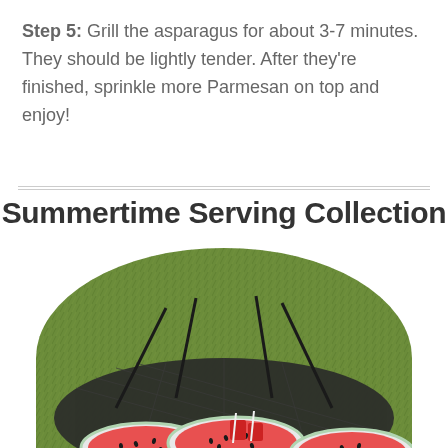Step 5: Grill the asparagus for about 3-7 minutes. They should be lightly tender. After they're finished, sprinkle more Parmesan on top and enjoy!
Summertime Serving Collection
[Figure (photo): Aerial view of a circular dark mesh serving tray on a green grass background, with watermelon-patterned plates and red cups with straws arranged on top.]